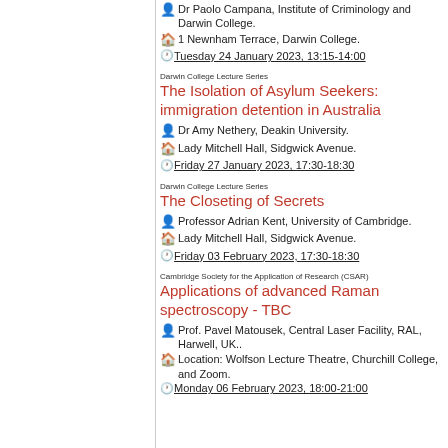Dr Paolo Campana, Institute of Criminology and Darwin College.
1 Newnham Terrace, Darwin College.
Tuesday 24 January 2023, 13:15-14:00
Darwin College Lecture Series
The Isolation of Asylum Seekers: immigration detention in Australia
Dr Amy Nethery, Deakin University.
Lady Mitchell Hall, Sidgwick Avenue.
Friday 27 January 2023, 17:30-18:30
Darwin College Lecture Series
The Closeting of Secrets
Professor Adrian Kent, University of Cambridge.
Lady Mitchell Hall, Sidgwick Avenue.
Friday 03 February 2023, 17:30-18:30
Cambridge Society for the Application of Research (CSAR)
Applications of advanced Raman spectroscopy - TBC
Prof. Pavel Matousek, Central Laser Facility, RAL, Harwell, UK..
Location: Wolfson Lecture Theatre, Churchill College, and Zoom.
Monday 06 February 2023, 18:00-21:00